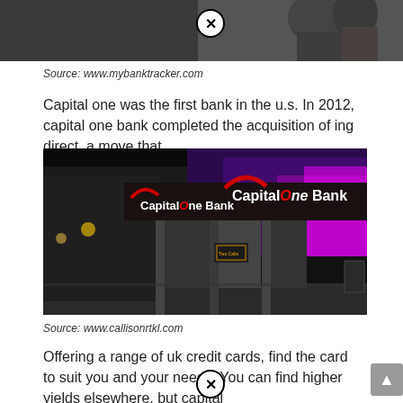[Figure (photo): Partial view of a street scene, top portion cut off, with a close button overlay]
Source: www.mybanktracker.com
Capital one was the first bank in the u.s. In 2012, capital one bank completed the acquisition of ing direct, a move that.
[Figure (photo): Capital One Bank branch exterior at night with illuminated signage and purple/pink lighting]
Source: www.callisonrtkl.com
Offering a range of uk credit cards, find the card to suit you and your needs. You can find higher yields elsewhere, but capital